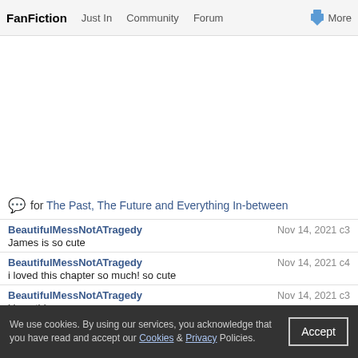FanFiction  Just In  Community  Forum  More
for The Past, The Future and Everything In-between
BeautifulMessNotATragedy  Nov 14, 2021 c3
James is so cute
BeautifulMessNotATragedy  Nov 14, 2021 c4
i loved this chapter so much! so cute
BeautifulMessNotATragedy  Nov 14, 2021 c3
i love this
BeautifulMessNotATragedy  Nov 14, 2021 c2
i love this
BeautifulMessNotATragedy  Nov 14, 2021 c1
i loved this
winterschild11  Aug 23, 2014 c5  8
We use cookies. By using our services, you acknowledge that you have read and accept our Cookies & Privacy Policies.